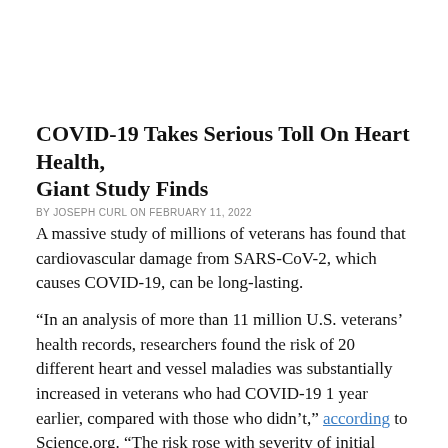COVID-19 Takes Serious Toll On Heart Health, Giant Study Finds
BY JOSEPH CURL ON FEBRUARY 11, 2022
A massive study of millions of veterans has found that cardiovascular damage from SARS-CoV-2, which causes COVID-19, can be long-lasting.
“In an analysis of more than 11 million U.S. veterans’ health records, researchers found the risk of 20 different heart and vessel maladies was substantially increased in veterans who had COVID-19 1 year earlier, compared with those who didn’t,” according to Science.org. “The risk rose with severity of initial disease and extended to every outcome the team examined, including heart_